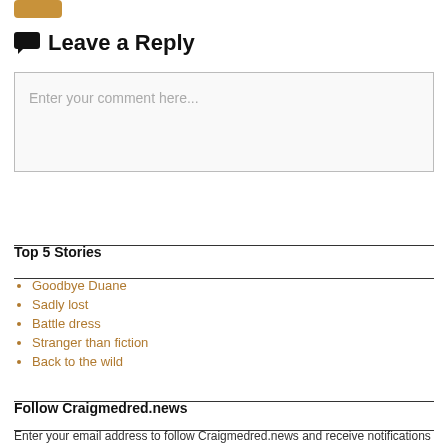Leave a Reply
Enter your comment here...
Top 5 Stories
Goodbye Duane
Sadly lost
Battle dress
Stranger than fiction
Back to the wild
Follow Craigmedred.news
Enter your email address to follow Craigmedred.news and receive notifications